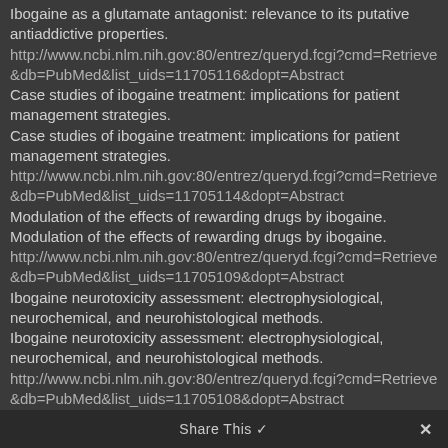Ibogaine as a glutamate antagonist: relevance to its putative antiaddictive properties.
http://www.ncbi.nlm.nih.gov:80/entrez/queryd.fcgi?cmd=Retrieve&db=PubMed&list_uids=11705116&dopt=Abstract
Case studies of ibogaine treatment: implications for patient management strategies.
Case studies of ibogaine treatment: implications for patient management strategies.
http://www.ncbi.nlm.nih.gov:80/entrez/queryd.fcgi?cmd=Retrieve&db=PubMed&list_uids=11705114&dopt=Abstract
Modulation of the effects of rewarding drugs by ibogaine.
Modulation of the effects of rewarding drugs by ibogaine.
http://www.ncbi.nlm.nih.gov:80/entrez/queryd.fcgi?cmd=Retrieve&db=PubMed&list_uids=11705109&dopt=Abstract
Ibogaine neurotoxicity assessment: electrophysiological, neurochemical, and neurohistological methods.
Ibogaine neurotoxicity assessment: electrophysiological, neurochemical, and neurohistological methods.
http://www.ncbi.nlm.nih.gov:80/entrez/queryd.fcgi?cmd=Retrieve&db=PubMed&list_uids=11705108&dopt=Abstract
Changes in gene expression and signal transduction following ibogaine
Share This ✓  ✗